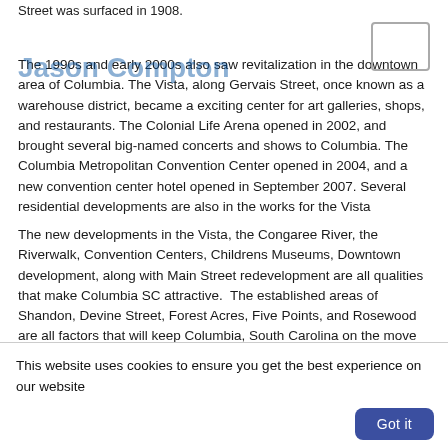Street was surfaced in 1908.
The 1990s and early 2000s also saw revitalization in the downtown area of Columbia. The Vista, along Gervais Street, once known as a warehouse district, became a exciting center for art galleries, shops, and restaurants. The Colonial Life Arena opened in 2002, and brought several big-named concerts and shows to Columbia. The Columbia Metropolitan Convention Center opened in 2004, and a new convention center hotel opened in September 2007. Several residential developments are also in the works for the Vista
The new developments in the Vista, the Congaree River, the Riverwalk, Convention Centers, Childrens Museums, Downtown development, along with Main Street redevelopment are all qualities that make Columbia SC attractive.  The established areas of Shandon, Devine Street, Forest Acres, Five Points, and Rosewood are all factors that will keep Columbia, South Carolina on the move upward for the years to come.
This website uses cookies to ensure you get the best experience on our website